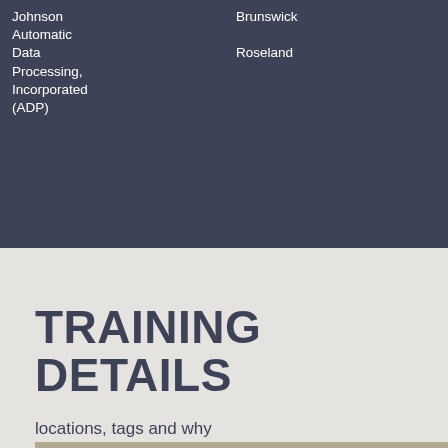| Company | Location | Industry | Services |
| --- | --- | --- | --- |
| Johnson Automatic Data Processing, Incorporated (ADP) | Roseland | Business Services | HR and Services |
| Brunswick |  | and Biotech |  |
TRAINING DETAILS
locations, tags and why hsg